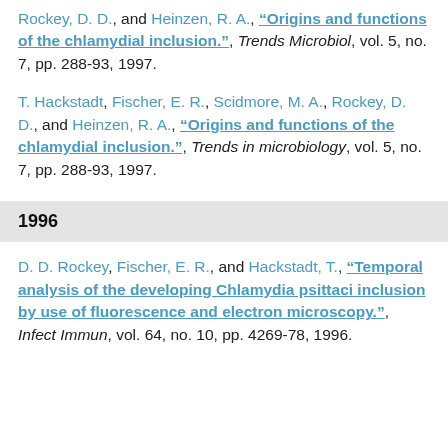Rockey, D. D., and Heinzen, R. A., "Origins and functions of the chlamydial inclusion.", Trends Microbiol, vol. 5, no. 7, pp. 288-93, 1997.
T. Hackstadt, Fischer, E. R., Scidmore, M. A., Rockey, D. D., and Heinzen, R. A., "Origins and functions of the chlamydial inclusion.", Trends in microbiology, vol. 5, no. 7, pp. 288-93, 1997.
1996
D. D. Rockey, Fischer, E. R., and Hackstadt, T., "Temporal analysis of the developing Chlamydia psittaci inclusion by use of fluorescence and electron microscopy.", Infect Immun, vol. 64, no. 10, pp. 4269-78, 1996.